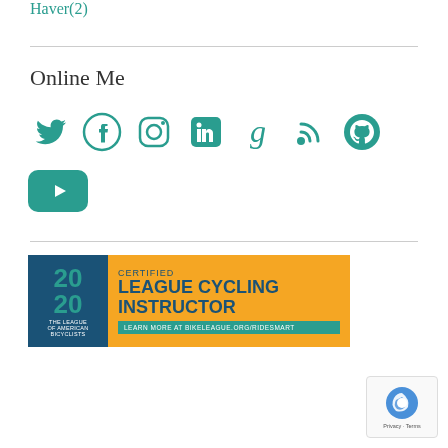Haver(2)
Online Me
[Figure (illustration): Row of social media icons in teal: Twitter, Facebook, Instagram, LinkedIn, Goodreads, RSS, GitHub, and a second row with YouTube]
[Figure (illustration): Certified League Cycling Instructor badge for 2020, The League of American Bicyclists, bikeleague.org/ridesmart]
[Figure (logo): Google reCAPTCHA widget with Privacy and Terms links]